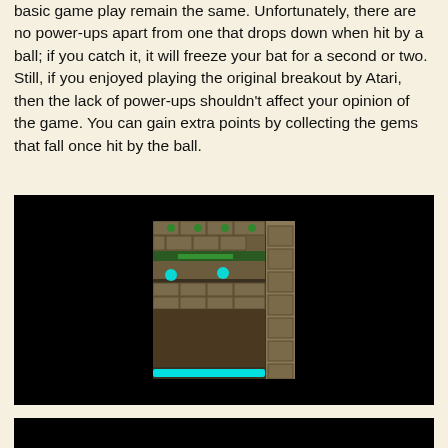basic game play remain the same. Unfortunately, there are no power-ups apart from one that drops down when hit by a ball; if you catch it, it will freeze your bat for a second or two. Still, if you enjoyed playing the original breakout by Atari, then the lack of power-ups shouldn't affect your opinion of the game. You can gain extra points by collecting the gems that fall once hit by the ball.
[Figure (screenshot): A black-bordered screenshot showing a dungeon/breakout-style game with stone brick walls, glowing cyan and green orbs, and a cyan paddle at the bottom of the play field. There is also a stone column/wall section on the right side.]
[Figure (screenshot): A second screenshot, partially visible at the bottom of the page, black background.]